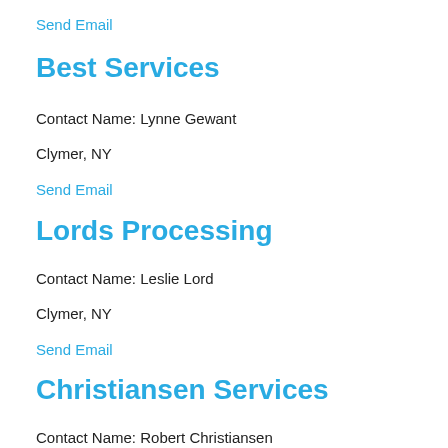Send Email
Best Services
Contact Name: Lynne Gewant
Clymer, NY
Send Email
Lords Processing
Contact Name: Leslie Lord
Clymer, NY
Send Email
Christiansen Services
Contact Name: Robert Christiansen
Clymer, NY